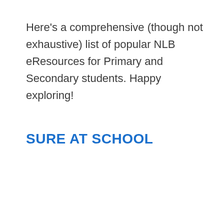Here's a comprehensive (though not exhaustive) list of popular NLB eResources for Primary and Secondary students. Happy exploring!
SURE AT SCHOOL
[Figure (screenshot): Green video card thumbnail with NLB logo circle and text 'SURE Educational Video', with a smiley face emoji circle in the bottom-left corner]